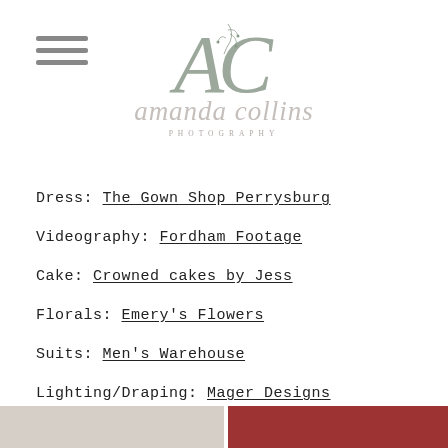[Figure (logo): Amanda Collins Photography logo with stylized AC initials with floral accent and script name below]
Dress: The Gown Shop Perrysburg
Videography: Fordham Footage
Cake: Crowned cakes by Jess
Florals: Emery's Flowers
Suits: Men's Warehouse
Lighting/Draping: Mager Designs
[Figure (photo): Two partial photos at the bottom of the page, left showing a light-toned wedding scene and right showing a red/dark toned detail]